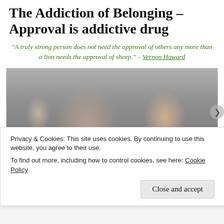The Addiction of Belonging – Approval is addictive drug
“A truly strong person does not need the approval of others any more than a lion needs the approval of sheep.” – Vernon Howard
[Figure (photo): Young man drinking from a large glass/pitcher at a social gathering, with others visible in the background against a brick wall.]
Privacy & Cookies: This site uses cookies. By continuing to use this website, you agree to their use.
To find out more, including how to control cookies, see here: Cookie Policy
Close and accept